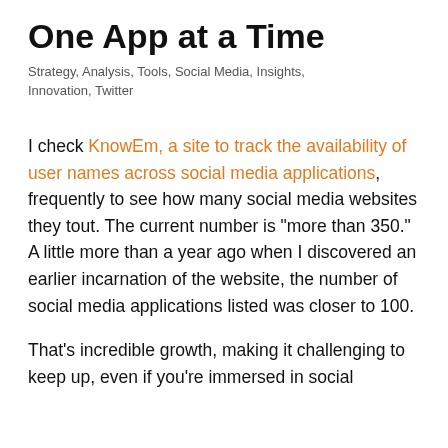One App at a Time
Strategy, Analysis, Tools, Social Media, Insights, Innovation, Twitter
I check KnowEm, a site to track the availability of user names across social media applications, frequently to see how many social media websites they tout. The current number is "more than 350." A little more than a year ago when I discovered an earlier incarnation of the website, the number of social media applications listed was closer to 100.
That's incredible growth, making it challenging to keep up, even if you're immersed in social